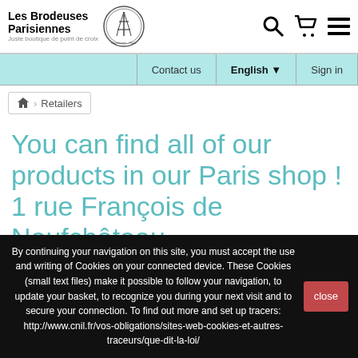Les Brodeuses Parisiennes — Juste boutique de point de croix
[Figure (logo): Circular logo of Les Brodeuses Parisiennes with Eiffel Tower illustration]
Contact us | English ▼ | Sign in
🏠 > Retailers
You can find all of our products in our Paris shop ! 1 rue François de Neufchâteau
By continuing your navigation on this site, you must accept the use and writing of Cookies on your connected device. These Cookies (small text files) make it possible to follow your navigation, to update your basket, to recognize you during your next visit and to secure your connection. To find out more and set up tracers: http://www.cnil.fr/vos-obligations/sites-web-cookies-et-autres-traceurs/que-dit-la-loi/